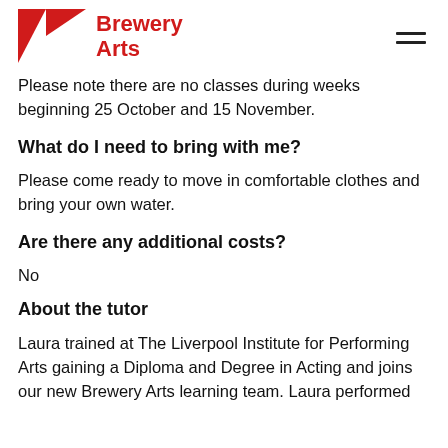Brewery Arts
Please note there are no classes during weeks beginning 25 October and 15 November.
What do I need to bring with me?
Please come ready to move in comfortable clothes and bring your own water.
Are there any additional costs?
No
About the tutor
Laura trained at The Liverpool Institute for Performing Arts gaining a Diploma and Degree in Acting and joins our new Brewery Arts learning team. Laura performed